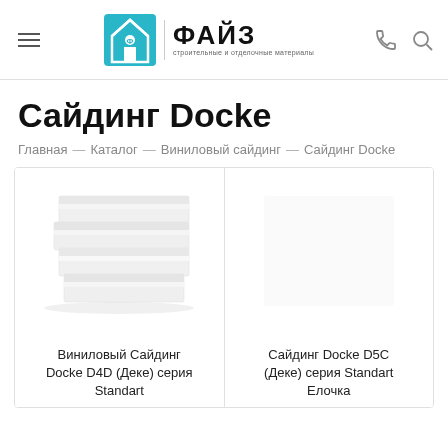ФАЙЗ — строительные и отделочные материалы
Сайдинг Docke
Главная — Каталог — Виниловый сайдинг — Сайдинг Docke
[Figure (photo): Product image of Виниловый Сайдинг Docke D4D (Деке) серия Standart - white vinyl siding panels]
Виниловый Сайдинг Docke D4D (Деке) серия Standart
[Figure (photo): Product image of Сайдинг Docke D5C (Деке) серия Standart Елочка - empty/white product card]
Сайдинг Docke D5C (Деке) серия Standart Елочка